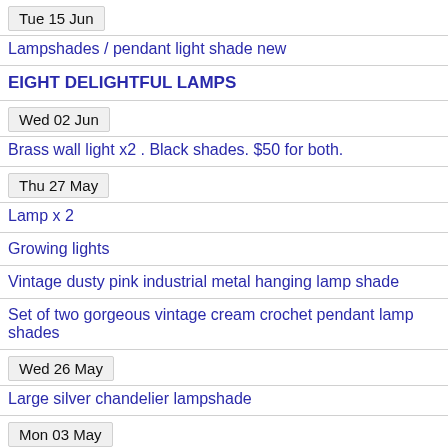Tue 15 Jun
Lampshades / pendant light shade new
EIGHT DELIGHTFUL LAMPS
Wed 02 Jun
Brass wall light x2 . Black shades. $50 for both.
Thu 27 May
Lamp x 2
Growing lights
Vintage dusty pink industrial metal hanging lamp shade
Set of two gorgeous vintage cream crochet pendant lamp shades
Wed 26 May
Large silver chandelier lampshade
Mon 03 May